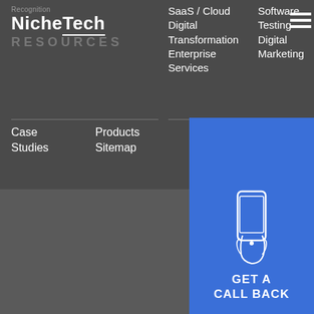Recognition
NicheTech
RESOURCES
SaaS / Cloud
Digital Transformation
Enterprise Services
Software Testing
Digital Marketing
Case Studies
Products
Sitemap
[Figure (infographic): GET A CALL BACK button with phone icon on blue background]